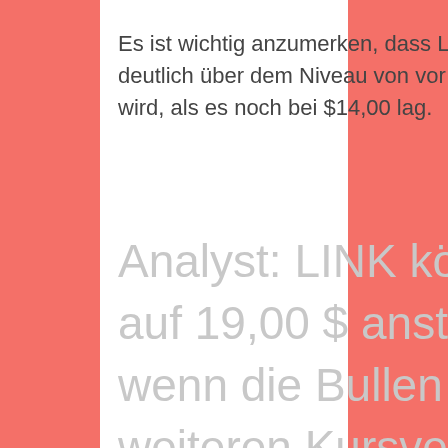Es ist wichtig anzumerken, dass LINK immer noch deutlich über dem Niveau von vor drei Tagen gehandelt wird, als es noch bei $14,00 lag.
Analyst: LINK könnte bald auf 19,00 $ ansteigen, wenn die Bullen vor weiteren Kursverlusten geschützt werden können.